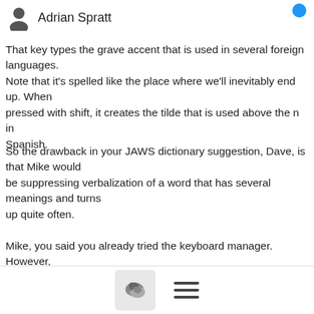Adrian Spratt
That key types the grave accent that is used in several foreign languages.
Note that it's spelled like the place where we'll inevitably end up. When
pressed with shift, it creates the tilde that is used above the n in Spanish.
So the drawback in your JAWS dictionary suggestion, Dave, is that Mike would
be suppressing verbalization of a word that has several meanings and turns
up quite often.
Mike, you said you already tried the keyboard manager. However, now that you
know the correct spelling of "grave," it might be worth another
scan down.